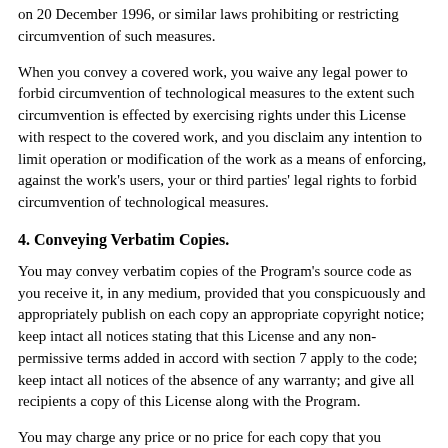on 20 December 1996, or similar laws prohibiting or restricting circumvention of such measures.
When you convey a covered work, you waive any legal power to forbid circumvention of technological measures to the extent such circumvention is effected by exercising rights under this License with respect to the covered work, and you disclaim any intention to limit operation or modification of the work as a means of enforcing, against the work's users, your or third parties' legal rights to forbid circumvention of technological measures.
4. Conveying Verbatim Copies.
You may convey verbatim copies of the Program's source code as you receive it, in any medium, provided that you conspicuously and appropriately publish on each copy an appropriate copyright notice; keep intact all notices stating that this License and any non-permissive terms added in accord with section 7 apply to the code; keep intact all notices of the absence of any warranty; and give all recipients a copy of this License along with the Program.
You may charge any price or no price for each copy that you convey, and you may offer support or warranty protection for a fee.
5. Conveying Modified Source Versions.